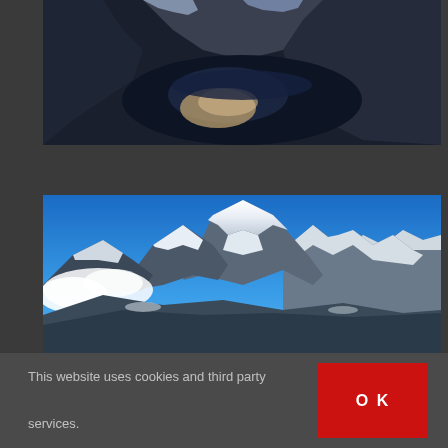[Figure (photo): Aerial or elevated view of a dark mountain lake or fjord with snow-covered rocky cliffs and a cloud reflection on the dark blue water]
[Figure (photo): Panoramic view of snow-capped mountain peaks against a bright blue sky, with lower forested slopes and white clouds to the left]
This website uses cookies and third party services.
OK